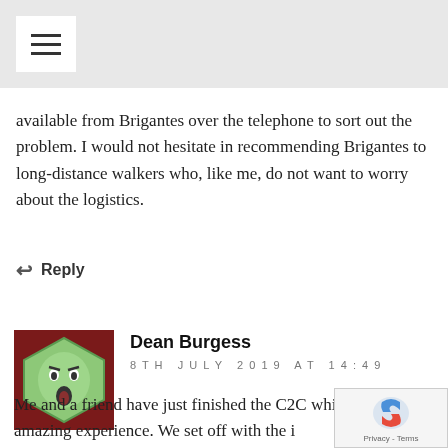available from Brigantes over the telephone to sort out the problem. I would not hesitate in recommending Brigantes to long-distance walkers who, like me, do not want to worry about the logistics.
Reply
Dean Burgess
8TH JULY 2019 AT 14:49
Me and a friend have just finished the C2C which was an amazing experience. We set off with the intention of carrying all of our own equipment, including tents etc which at the end of day one we realized was a